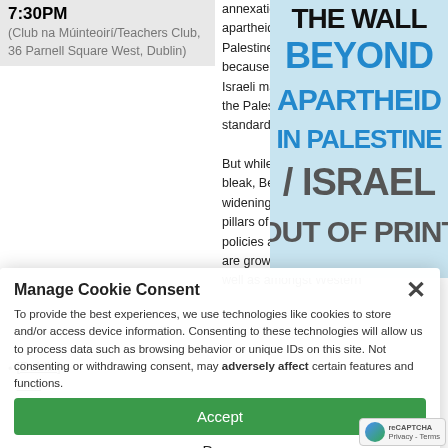7:30PM (Club na Múinteoirí/Teachers Club, 36 Parnell Square West, Dublin)
annexation, Israel has created an apartheid, one state reality in historic Palestine. Peace efforts have failed because of one, inconvenient truth: the Israeli maximum on offer does not meet the Palestinian minimum, or the standards of international law.

But while the situation on the ground is bleak, Ben White argues that there are widening cracks in Israel's traditional pillars of support. Opposition to Israeli policies and even critiques of Zionism are growing in Jewish communities, as well as amongst Western
[Figure (illustration): Book cover: 'The Wall Beyond Apartheid in Palestine / Israel - Out of Print' with blue and dark typography on light blue textured background]
Manage Cookie Consent

To provide the best experiences, we use technologies like cookies to store and/or access device information. Consenting to these technologies will allow us to process data such as browsing behavior or unique IDs on this site. Not consenting or withdrawing consent, may adversely affect certain features and functions.

Accept
Deny
View preferences
Cookie Policy
[Figure (photo): Gray placeholder image with text 'put your picture' and 'OF THE HIGH POWER']
[Dublin] Film Screening: Not